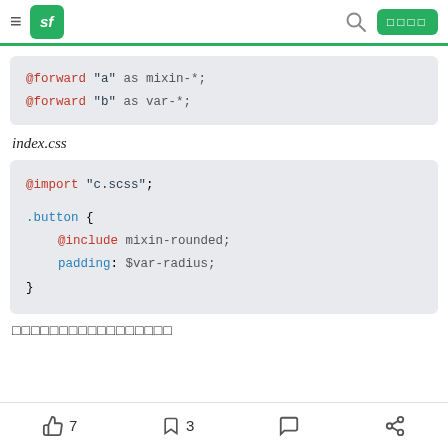sf  [search] [□□□□]
[Figure (screenshot): Code block showing: @forward "a" as mixin-*; @forward "b" as var-*;]
index.css
[Figure (screenshot): Code block showing: @import "c.scss"; .button { @include mixin-rounded; padding: $var-radius; }]
□□□□□□□□□□□□□□□□□
👍 7   🔖 3   💬   share